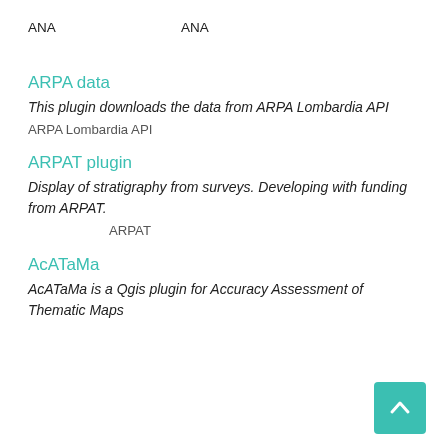ANA　　　　　　　　　　　　　ANA
ARPA data
This plugin downloads the data from ARPA Lombardia API
ARPA Lombardia API
ARPAT plugin
Display of stratigraphy from surveys. Developing with funding from ARPAT.
ARPAT
AcATaMa
AcATaMa is a Qgis plugin for Accuracy Assessment of Thematic Maps